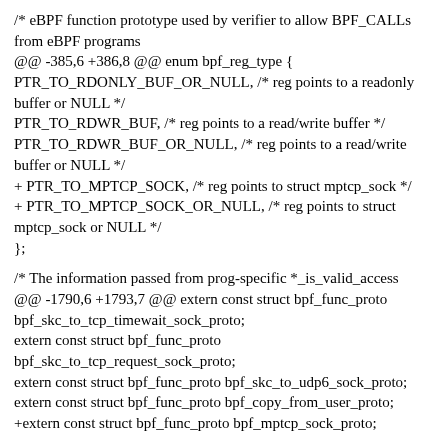/* eBPF function prototype used by verifier to allow BPF_CALLs from eBPF programs
@@ -385,6 +386,8 @@ enum bpf_reg_type {
PTR_TO_RDONLY_BUF_OR_NULL, /* reg points to a readonly buffer or NULL */
PTR_TO_RDWR_BUF, /* reg points to a read/write buffer */
PTR_TO_RDWR_BUF_OR_NULL, /* reg points to a read/write buffer or NULL */
+ PTR_TO_MPTCP_SOCK, /* reg points to struct mptcp_sock */
+ PTR_TO_MPTCP_SOCK_OR_NULL, /* reg points to struct mptcp_sock or NULL */
};
/* The information passed from prog-specific *_is_valid_access
@@ -1790,6 +1793,7 @@ extern const struct bpf_func_proto bpf_skc_to_tcp_timewait_sock_proto;
extern const struct bpf_func_proto
bpf_skc_to_tcp_request_sock_proto;
extern const struct bpf_func_proto bpf_skc_to_udp6_sock_proto;
extern const struct bpf_func_proto bpf_copy_from_user_proto;
+extern const struct bpf_func_proto bpf_mptcp_sock_proto;
const struct bpf_func_proto *bpf_tracing_func_proto(
enum bpf_func_id func_id, const struct bpf_prog *prog);
@@ -1846,6 +1850,25 @@ struct sk_reussport_kern {